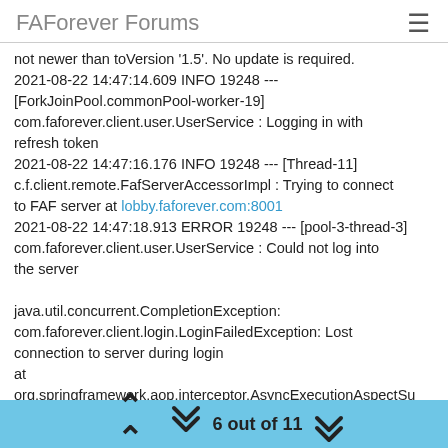FAForever Forums
not newer than toVersion '1.5'. No update is required.
2021-08-22 14:47:14.609 INFO 19248 --- [ForkJoinPool.commonPool-worker-19] com.faforever.client.user.UserService : Logging in with refresh token
2021-08-22 14:47:16.176 INFO 19248 --- [Thread-11] c.f.client.remote.FafServerAccessorImpl : Trying to connect to FAF server at lobby.faforever.com:8001
2021-08-22 14:47:18.913 ERROR 19248 --- [pool-3-thread-3] com.faforever.client.user.UserService : Could not log into the server

java.util.concurrent.CompletionException: com.faforever.client.login.LoginFailedException: Lost connection to server during login
at
org.springframework.aop.interceptor.AsyncExecutionAspectSu
at
6 out of 11